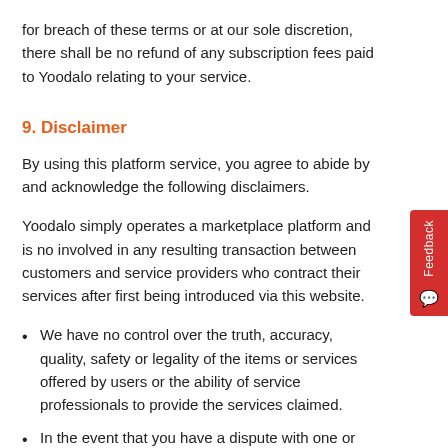for breach of these terms or at our sole discretion, there shall be no refund of any subscription fees paid to Yoodalo relating to your service.
9. Disclaimer
By using this platform service, you agree to abide by and acknowledge the following disclaimers.
Yoodalo simply operates a marketplace platform and is not involved in any resulting transaction between customers and service providers who contract their services after first being introduced via this website.
We have no control over the truth, accuracy, quality, safety or legality of the items or services offered by users or the ability of service professionals to provide the services claimed.
In the event that you have a dispute with one or more users of this website, you release Yoodalo (and our directors, agents, contractors, affiliates, parents, subsidiaries, and employees) from claims, demands